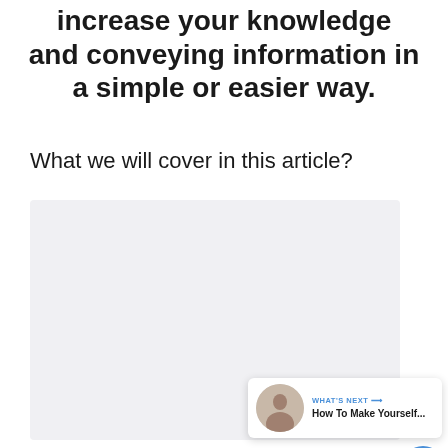increase your knowledge and conveying information in a simple or easier way.
What we will cover in this article?
[Figure (other): Large light gray placeholder image box for article content]
[Figure (screenshot): Social interaction panel with heart/like button (blue circle with heart icon), count showing 1, and share button. What's Next panel showing a thumbnail of a woman and text 'WHAT'S NEXT → How To Make Yourself...']